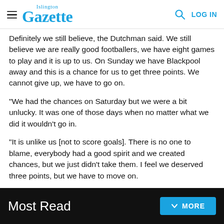Islington Gazette — LOG IN
Definitely we still believe, the Dutchman said. We still believe we are really good footballers, we have eight games to play and it is up to us. On Sunday we have Blackpool away and this is a chance for us to get three points. We cannot give up, we have to go on.
“We had the chances on Saturday but we were a bit unlucky. It was one of those days when no matter what we did it wouldn’t go in.
“It is unlike us [not to score goals]. There is no one to blame, everybody had a good spirit and we created chances, but we just didn’t take them. I feel we deserved three points, but we have to move on.
Most Read